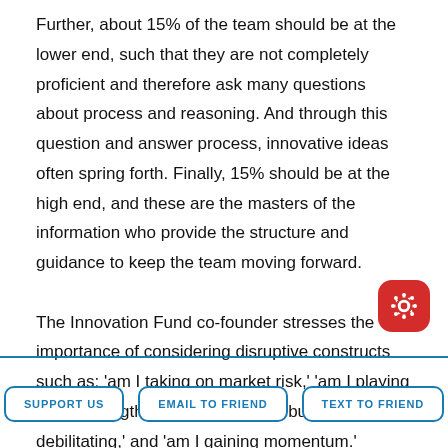Further, about 15% of the team should be at the lower end, such that they are not completely proficient and therefore ask many questions about process and reasoning. And through this question and answer process, innovative ideas often spring forth. Finally, 15% should be at the high end, and these are the masters of the information who provide the structure and guidance to keep the team moving forward.

The Innovation Fund co-founder stresses the importance of considering disruptive constructs such as: 'am I taking on market risk,' 'am I playing to my strengths,' 'is the task hard but not debilitating,' and 'am I gaining momentum.' Johnson advises individuals to appraise the variables a
SUPPORT US   EMAIL TO FRIEND   TEXT TO FRIEND